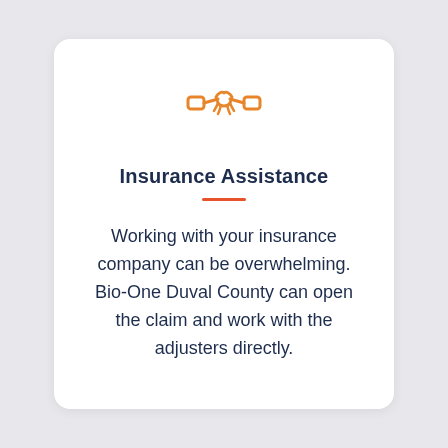[Figure (illustration): Orange handshake icon centered at top of card]
Insurance Assistance
Working with your insurance company can be overwhelming. Bio-One Duval County can open the claim and work with the adjusters directly.